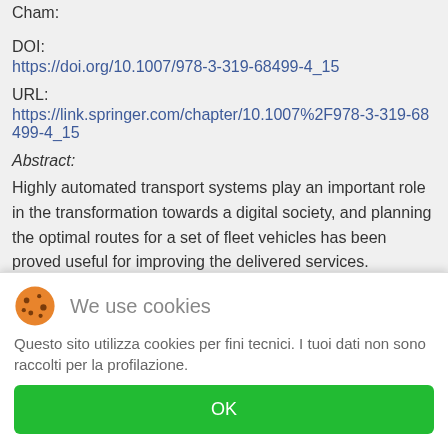Cham:
DOI:
https://doi.org/10.1007/978-3-319-68499-4_15
URL:
https://link.springer.com/chapter/10.1007%2F978-3-319-68499-4_15
Abstract:
Highly automated transport systems play an important role in the transformation towards a digital society, and planning the optimal routes for a set of fleet vehicles has been proved useful for improving the delivered services. Traditionally, routes are planned beforehand. However, with the advent of autonomous urban transport systems (e.g. autonomous
We use cookies
Questo sito utilizza cookies per fini tecnici. I tuoi dati non sono raccolti per la profilazione.
OK